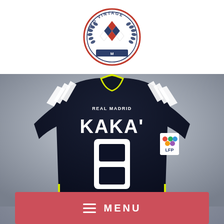[Figure (logo): PFG Vintage circular badge logo with diamond pattern in red and blue, laurel wreath border, navy blue text reading PFG VINTAGE around the top arc]
[Figure (photo): Real Madrid dark navy away jersey displayed from the back, showing KAKA' name and number 8 in white, with yellow-green collar trim, Adidas three stripes on sleeves, and LFP badge on sleeve. Background is a light grey gradient.]
MENU